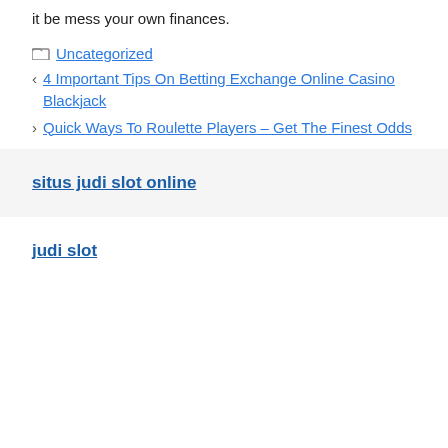it be mess your own finances.
Uncategorized
4 Important Tips On Betting Exchange Online Casino Blackjack
Quick Ways To Roulette Players – Get The Finest Odds
situs judi slot online
judi slot